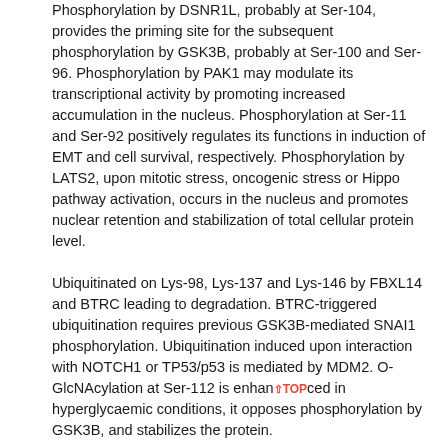Phosphorylation by DSNR1L, probably at Ser-104, provides the priming site for the subsequent phosphorylation by GSK3B, probably at Ser-100 and Ser-96. Phosphorylation by PAK1 may modulate its transcriptional activity by promoting increased accumulation in the nucleus. Phosphorylation at Ser-11 and Ser-92 positively regulates its functions in induction of EMT and cell survival, respectively. Phosphorylation by LATS2, upon mitotic stress, oncogenic stress or Hippo pathway activation, occurs in the nucleus and promotes nuclear retention and stabilization of total cellular protein level. Ubiquitinated on Lys-98, Lys-137 and Lys-146 by FBXL14 and BTRC leading to degradation. BTRC-triggered ubiquitination requires previous GSK3B-mediated SNAI1 phosphorylation. Ubiquitination induced upon interaction with NOTCH1 or TP53/p53 is mediated by MDM2. O-GlcNAcylation at Ser-112 is enhanced in hyperglycaemic conditions, it opposes phosphorylation by GSK3B, and stabilizes the protein. ADP-ribosylation by PARP1 increases protein